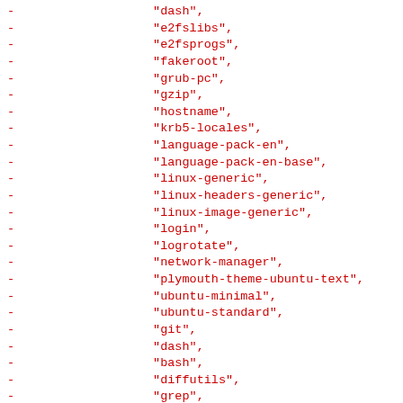- "e2fslibs",
- "e2fsprogs",
- "fakeroot",
- "grub-pc",
- "gzip",
- "hostname",
- "krb5-locales",
- "language-pack-en",
- "language-pack-en-base",
- "linux-generic",
- "linux-headers-generic",
- "linux-image-generic",
- "login",
- "logrotate",
- "network-manager",
- "plymouth-theme-ubuntu-text",
- "ubuntu-minimal",
- "ubuntu-standard",
- "git",
- "dash",
- "bash",
- "diffutils",
- "grep",
- "ncurses-base"] }
-}
+{
+ "base-system": {
+ "fedora": [
+ "kernel",
+ "kernel-PAE",